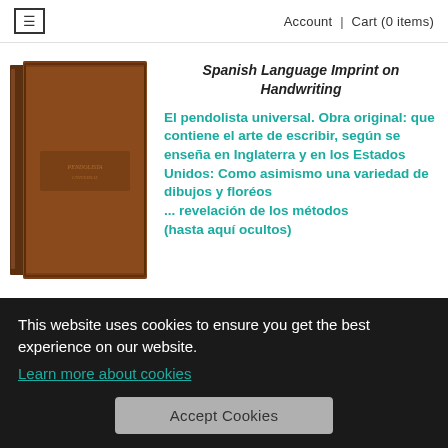Account | Cart (0 items)
[Figure (photo): Brown leather-bound book, square format, viewed from the front cover with spine visible on left side.]
Spanish Language Imprint on Handwriting
El pendolista universal. Obra original: que contiene el arte de escribir, según se enseña en Inglaterra y en los Estados Unidos: Como asimismo una variedad de dibujos y floréos ... revelación de los métodos (hasta aquí ocultos)
This website uses cookies to ensure you get the best experience on our website.
Learn more about cookies
Accept Cookies